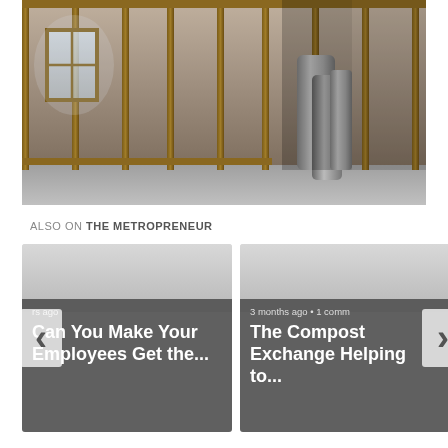[Figure (photo): Interior of a building under construction showing wood stud framing, concrete floor, window opening with light coming through, and HVAC metal ductwork/pipes on the right side]
ALSO ON THE METROPRENEUR
[Figure (infographic): Card widget showing two article previews side by side with navigation arrows. Left card: 'rs ago' timestamp, title 'Can You Make Your Employees Get the...' Right card: '3 months ago • 1 comm' timestamp, title 'The Compost Exchange Helping to...']